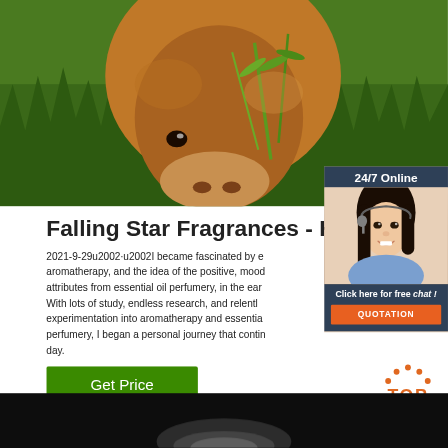[Figure (photo): Close-up photo of a brown animal (cow or similar) face with grass and green plants in the background]
[Figure (photo): Customer service representative (woman with headset, smiling) with '24/7 Online' header, 'Click here for free chat!' text, and orange QUOTATION button on dark blue background]
Falling Star Fragrances - Ho
2021-9-29u2002·u2002I became fascinated by aromatherapy, and the idea of the positive, mood attributes from essential oil perfumery, in the ear With lots of study, endless research, and relentl experimentation into aromatherapy and essentia perfumery, I began a personal journey that contin day.
[Figure (other): Green 'Get Price' button]
[Figure (other): Orange 'TOP' button with dots above forming an arc]
[Figure (photo): Dark background with light reflection at bottom of page, partial view of another photo]